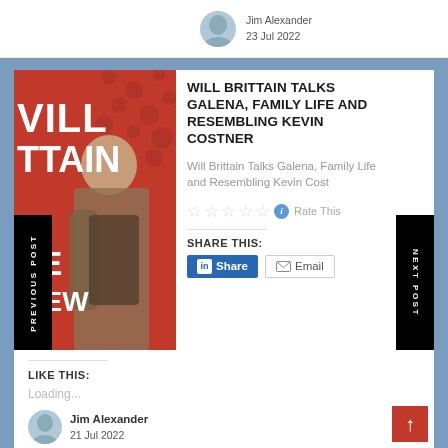Jim Alexander
23 Jul 2022
WILL BRITTAIN TALKS GALENA, FAMILY LIFE AND RESEMBLING KEVIN COSTNER
Will Brittain Talks Galena, Family Life and Resembling Kevin Cost
Rate This
SHARE THIS:
LIKE THIS:
Loading...
Jim Alexander
21 Jul 2022